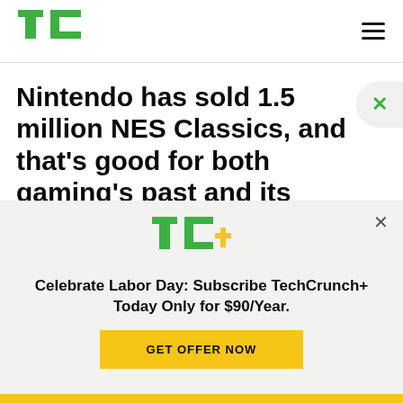TechCrunch
Nintendo has sold 1.5 million NES Classics, and that's good for both gaming's past and its future
[Figure (logo): TechCrunch+ logo with green TC letters and yellow plus sign]
Celebrate Labor Day: Subscribe TechCrunch+ Today Only for $90/Year.
GET OFFER NOW